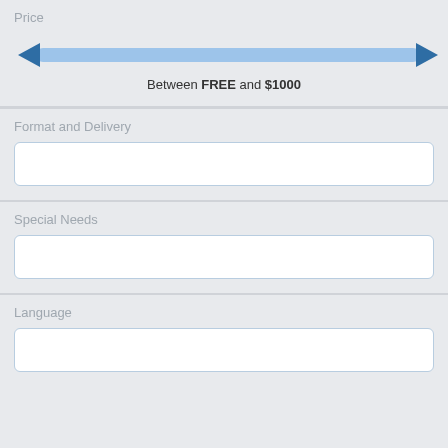Price
[Figure (infographic): A horizontal range slider showing price range from FREE to $1000. Blue arrows on both ends of a light blue track bar.]
Between FREE and $1000
Format and Delivery
[Figure (other): Empty white input/dropdown box for Format and Delivery selection]
Special Needs
[Figure (other): Empty white input/dropdown box for Special Needs selection]
Language
[Figure (other): Empty white input/dropdown box for Language selection]